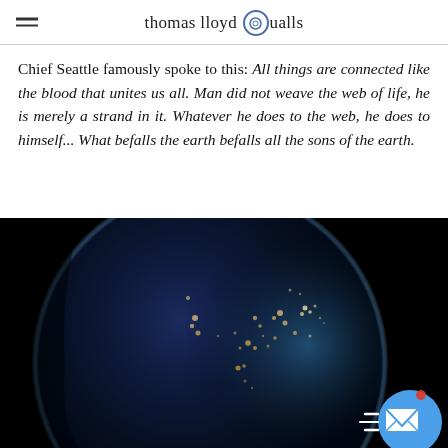thomas lloyd Qualls
Chief Seattle famously spoke to this: All things are connected like the blood that unites us all. Man did not weave the web of life, he is merely a strand in it. Whatever he does to the web, he does to himself... What befalls the earth befalls all the sons of the earth.
[Figure (photo): NASA-style photograph of Earth from space at night, showing North America with city lights glowing on a dark globe against black space background.]